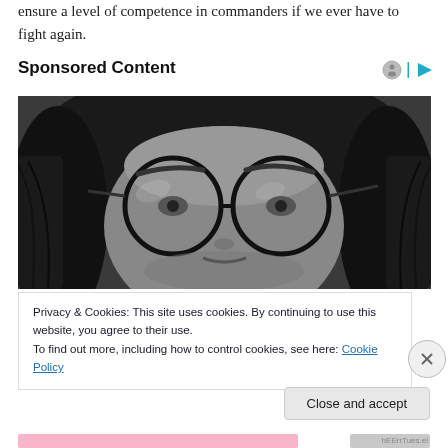ensure a level of competence in commanders if we ever have to fight again.
Sponsored Content
[Figure (photo): Black and white close-up portrait of a young man with long hair and round glasses, looking directly at the camera.]
Privacy & Cookies: This site uses cookies. By continuing to use this website, you agree to their use.
To find out more, including how to control cookies, see here: Cookie Policy
Close and accept